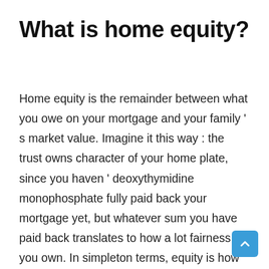What is home equity?
Home equity is the remainder between what you owe on your mortgage and your family ' s market value. Imagine it this way : the trust owns character of your home plate, since you haven ' deoxythymidine monophosphate fully paid back your mortgage yet, but whatever sum you have paid back translates to how a lot fairness you own. In simpleton terms, equity is how much of your home you have paid for or gained due to admiration. When you first gear bought your theater, your equity was the sum of your down requital. once you have completely paid your mortgage, you will own 100 % equity in your